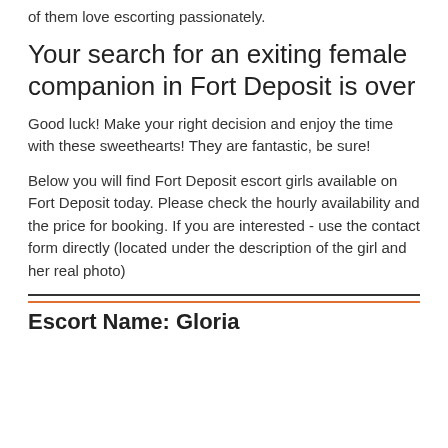of them love escorting passionately.
Your search for an exiting female companion in Fort Deposit is over
Good luck! Make your right decision and enjoy the time with these sweethearts! They are fantastic, be sure!
Below you will find Fort Deposit escort girls available on Fort Deposit today. Please check the hourly availability and the price for booking. If you are interested - use the contact form directly (located under the description of the girl and her real photo)
Escort Name: Gloria